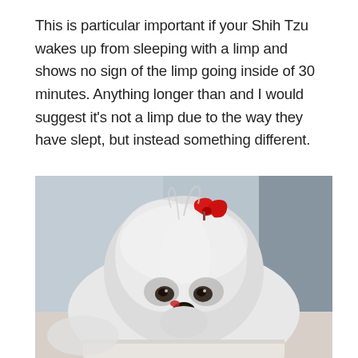This is particular important if your Shih Tzu wakes up from sleeping with a limp and shows no sign of the limp going inside of 30 minutes. Anything longer than and I would suggest it's not a limp due to the way they have slept, but instead something different.
[Figure (photo): Close-up photograph of a fluffy white Shih Tzu dog resting its chin on a surface, with a small red bow/clip in its hair on top of its head, and a red mark near its nose. The background is blurred showing an indoor setting.]